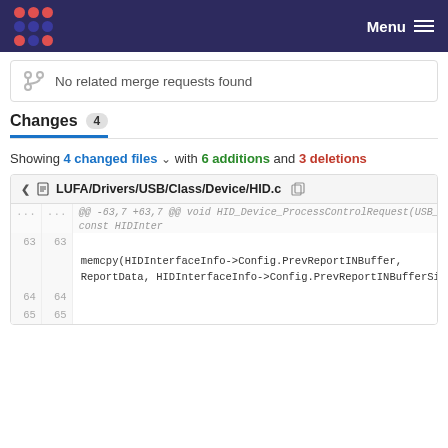Menu (navigation bar with logo)
No related merge requests found
Changes 4
Showing 4 changed files with 6 additions and 3 deletions
LUFA/Drivers/USB/Class/Device/HID.c
@@ -63,7 +63,7 @@ void HID_Device_ProcessControlRequest(USB_Cla... const HIDInter
63  63  memcpy(HIDInterfaceInfo->Config.PrevReportINBuffer, ReportData, HIDInterfaceInfo->Config.PrevReportINBufferSize);
64  64
65  65